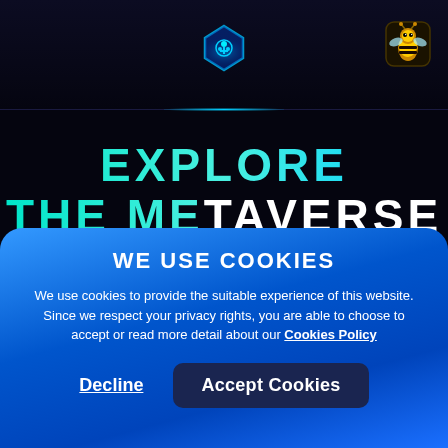[Figure (logo): Blue gem/crystal hexagonal logo icon centered in the header]
[Figure (logo): Cartoon bee avatar icon in top right of header]
EXPLORE THE METAVERSE
The interconnected ecosystem of games, communities,
WE USE COOKIES
We use cookies to provide the suitable experience of this website. Since we respect your privacy rights, you are able to choose to accept or read more detail about our Cookies Policy
Decline
Accept Cookies